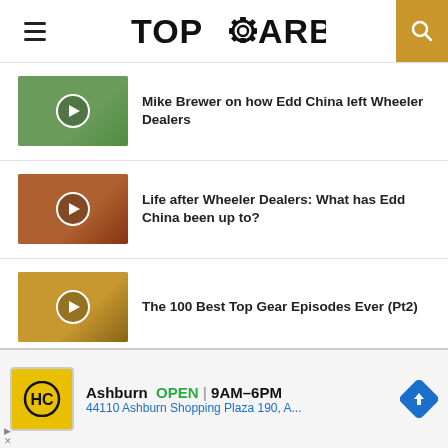TOPGEARBOX
[Figure (screenshot): Thumbnail with play button - Mike Brewer video]
Mike Brewer on how Edd China left Wheeler Dealers
[Figure (screenshot): Thumbnail with play button - Edd China life after Wheeler Dealers video]
Life after Wheeler Dealers: What has Edd China been up to?
[Figure (screenshot): Thumbnail with play button - Top Gear Episodes video]
The 100 Best Top Gear Episodes Ever (Pt2)
[Figure (screenshot): Advertisement banner: HC logo, Ashburn OPEN 9AM-6PM, 44110 Ashburn Shopping Plaza 190, A...]